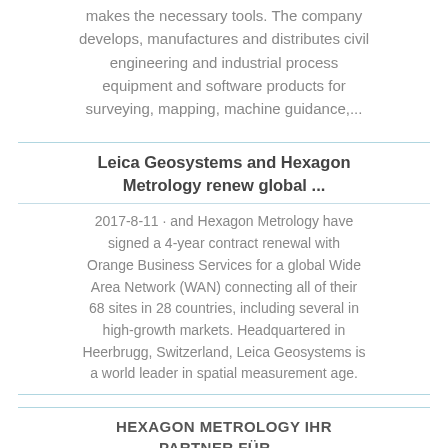makes the necessary tools. The company develops, manufactures and distributes civil engineering and industrial process equipment and software products for surveying, mapping, machine guidance,...
Leica Geosystems and Hexagon Metrology renew global ...
2017-8-11 · and Hexagon Metrology have signed a 4-year contract renewal with Orange Business Services for a global Wide Area Network (WAN) connecting all of their 68 sites in 28 countries, including several in high-growth markets. Headquartered in Heerbrugg, Switzerland, Leica Geosystems is a world leader in spatial measurement age.
HEXAGON METROLOGY IHR PARTNER FÜR ...
2021-4-1 · Heerbrugg Innomec AG Herisau 3 Unser Netzwerk für die Lohnmessung SwissNeutronics AG Klingnau Hochschule...